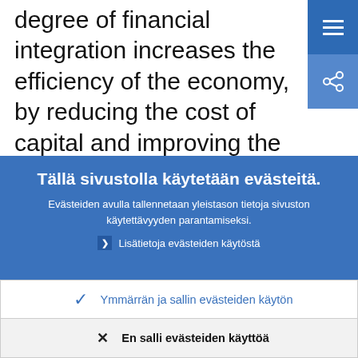degree of financial integration increases the efficiency of the economy, by reducing the cost of capital and improving the allocation of financial resources. This will ultimately lead to higher and more sustainable non-
Tällä sivustolla käytetään evästeitä.
Evästeiden avulla tallennetaan yleistason tietoja sivuston käytettävyyden parantamiseksi.
Lisätietoja evästeiden käytöstä
Ymmärrän ja sallin evästeiden käytön
En salli evästeiden käyttöä